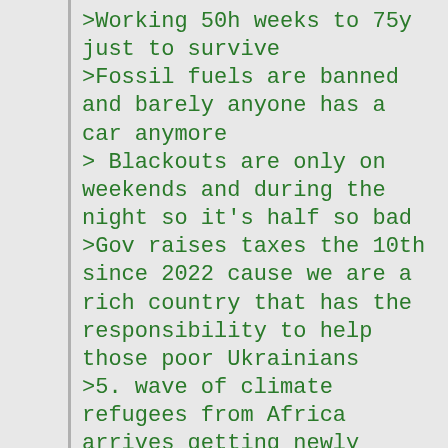>Working 50h weeks to 75y just to survive
>Fossil fuels are banned and barely anyone has a car anymore
> Blackouts are only on weekends and during the night so it's half so bad
>Gov raises taxes the 10th since 2022 cause we are a rich country that has the responsibility to help those poor Ukrainians
>5. wave of climate refugees from Africa arrives getting newly build houses and apartments.
>At least the Russians suffer too.
The future looks bright.